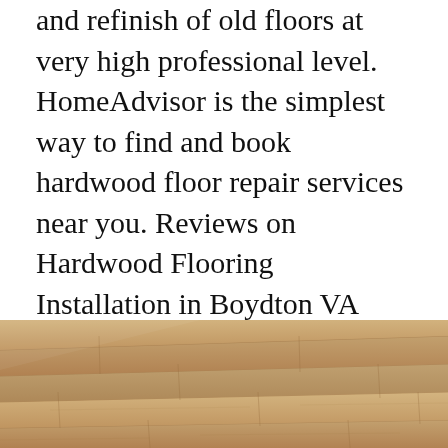and refinish of old floors at very high professional level. HomeAdvisor is the simplest way to find and book hardwood floor repair services near you. Reviews on Hardwood Flooring Installation in Boydton VA 23917 - JB Maintenance Campbell and Family Carpentry Home Services at The Home Depot A B Hair Carpets B L Carpet Tile Floor Coverings International Wake Forest.
[Figure (photo): Photograph of light brown/beige hardwood or laminate floor planks with wood grain texture, viewed from an angle.]